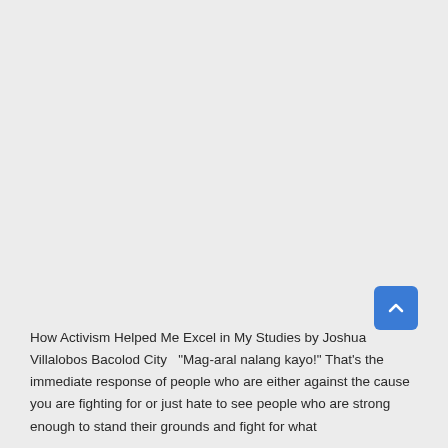How Activism Helped Me Excel in My Studies by Joshua Villalobos Bacolod City   "Mag-aral nalang kayo!" That's the immediate response of people who are either against the cause you are fighting for or just hate to see people who are strong enough to stand their grounds and fight for what